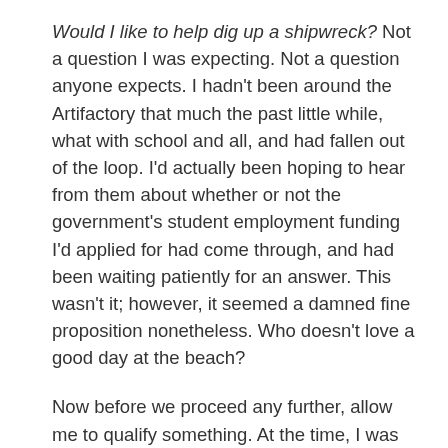Would I like to help dig up a shipwreck? Not a question I was expecting. Not a question anyone expects. I hadn't been around the Artifactory that much the past little while, what with school and all, and had fallen out of the loop. I'd actually been hoping to hear from them about whether or not the government's student employment funding I'd applied for had come through, and had been waiting patiently for an answer. This wasn't it; however, it seemed a damned fine proposition nonetheless. Who doesn't love a good day at the beach?
Now before we proceed any further, allow me to qualify something. At the time, I was basically a scrawny, bookworm of a highschooler, more accustomed to sitting in libraries and much less so to...